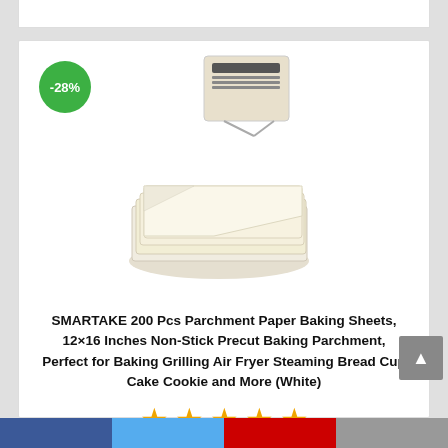[Figure (photo): Stack of white precut parchment paper baking sheets with packaging visible at top]
SMARTAKE 200 Pcs Parchment Paper Baking Sheets, 12×16 Inches Non-Stick Precut Baking Parchment, Perfect for Baking Grilling Air Fryer Steaming Bread Cup Cake Cookie and More (White)
[Figure (other): Five orange star rating icons]
GO TO AMAZON